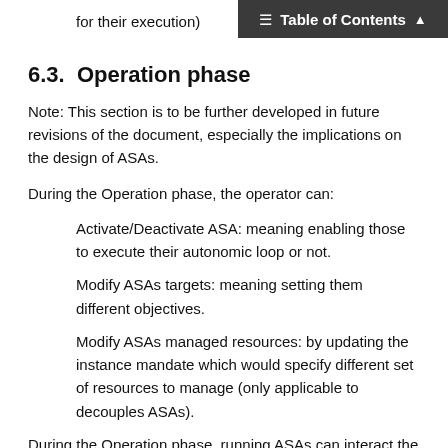Table of Contents
for their execution)
6.3.  Operation phase
Note: This section is to be further developed in future revisions of the document, especially the implications on the design of ASAs.
During the Operation phase, the operator can:
Activate/Deactivate ASA: meaning enabling those to execute their autonomic loop or not.
Modify ASAs targets: meaning setting them different objectives.
Modify ASAs managed resources: by updating the instance mandate which would specify different set of resources to manage (only applicable to decouples ASAs).
During the Operation phase, running ASAs can interact the one with the other: